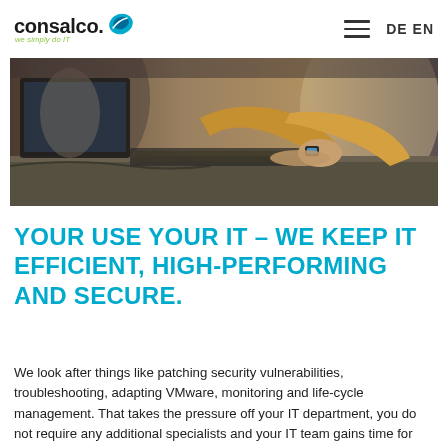consalco. we simply do IT — DE EN
[Figure (photo): Person wearing a yellow/mustard sweater typing on a keyboard at a desk with monitors in an office environment, blurred background with colleagues]
YOUR USE YOUR IT – WE KEEP IT EFFICIENT, HIGH-PERFORMING AND SECURE.
We look after things like patching security vulnerabilities, troubleshooting, adapting VMware, monitoring and life-cycle management. That takes the pressure off your IT department, you do not require any additional specialists and your IT team gains time for other upcoming projects.